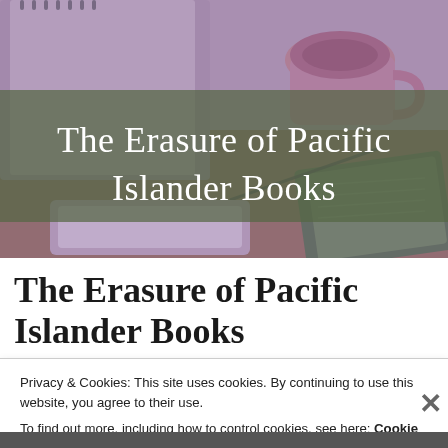[Figure (photo): Background photo of notebooks, a coffee cup, and a tablet on a wooden table with a purple/brown tint. Over the image is a semi-transparent olive green banner with white serif text reading 'The Erasure of Pacific Islander Books'.]
The Erasure of Pacific Islander Books
Privacy & Cookies: This site uses cookies. By continuing to use this website, you agree to their use.
To find out more, including how to control cookies, see here: Cookie Policy
Close and accept